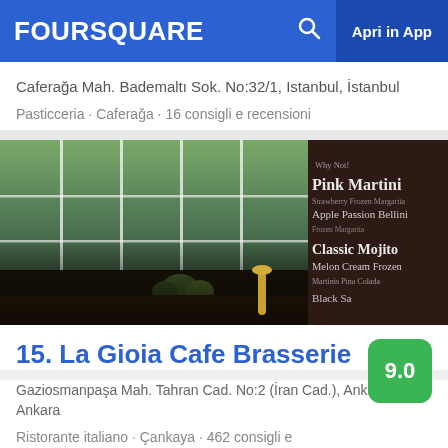FOURSQUARE   Apri in App
Caferağa Mah. Bademaltı Sok. No:32/1, Istanbul, İstanbul
Pasticceria · Caferağa · 16 consigli e recensioni
[Figure (photo): Interior photo of La Gioia Cafe Brasserie showing large windows with greenery outside, a bar counter, and a drinks menu board on the right listing cocktails including Pink Martini, Apple Passion Bellini, Classic Mojito, Melon Cream Frozen, and Black Sa...]
15. La Gioia Cafe Brasserie
Gaziosmanpaşa Mah. Tahran Cad. No:2 (İran Cad.), Ankara, Ankara
Ristorante italiano · Çankaya · 462 consigli e